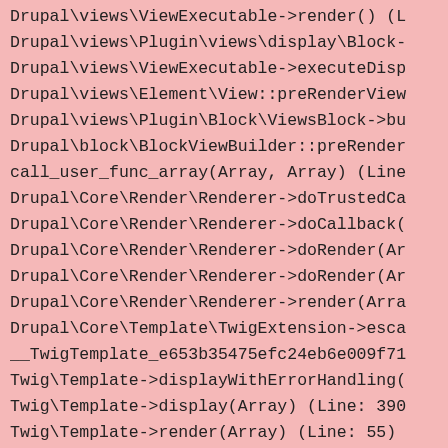Drupal\views\ViewExecutable->render() (L
Drupal\views\Plugin\views\display\Block-
Drupal\views\ViewExecutable->executeDisp
Drupal\views\Element\View::preRenderView
Drupal\views\Plugin\Block\ViewsBlock->bu
Drupal\block\BlockViewBuilder::preRender
call_user_func_array(Array, Array) (Line
Drupal\Core\Render\Renderer->doTrustedCa
Drupal\Core\Render\Renderer->doCallback(
Drupal\Core\Render\Renderer->doRender(Ar
Drupal\Core\Render\Renderer->doRender(Ar
Drupal\Core\Render\Renderer->render(Arra
Drupal\Core\Template\TwigExtension->esca
__TwigTemplate_e653b35475efc24eb6e009f71
Twig\Template->displayWithErrorHandling(
Twig\Template->display(Array) (Line: 390
Twig\Template->render(Array) (Line: 55)
twig_render_template('themes/nect-theme/
Drupal\Core\Theme\ThemeManager->render('
Drupal\Core\Render\Renderer->doRender(Ar
Drupal\Core\Render\Renderer->render(Arra
Drupal\Core\Template\TwigExtension->esca